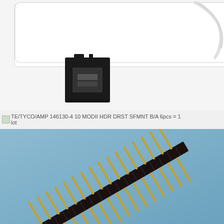[Figure (photo): Electronic components on white background: a white flat rectangular pad/mat with a white cable, and a small black connector component in the foreground.]
TE/TYCO/AMP 146130-4 10 MODII HDR DRST SFMNT B/A 6pcs = 1 lot
[Figure (photo): Row of gold pin headers/connectors on a blue background. Multiple black-bodied dual-row pin header connectors with gold pins arranged diagonally.]